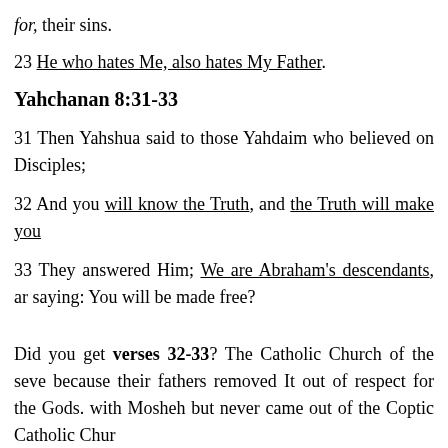for, their sins.
23 He who hates Me, also hates My Father.
Yahchanan 8:31-33
31 Then Yahshua said to those Yahdaim who believed on Disciples;
32 And you will know the Truth, and the Truth will make you
33 They answered Him; We are Abraham's descendants, and saying: You will be made free?
Did you get verses 32-33? The Catholic Church of the seve because their fathers removed It out of respect for the Gods. with Mosheh but never came out of the Coptic Catholic Chur